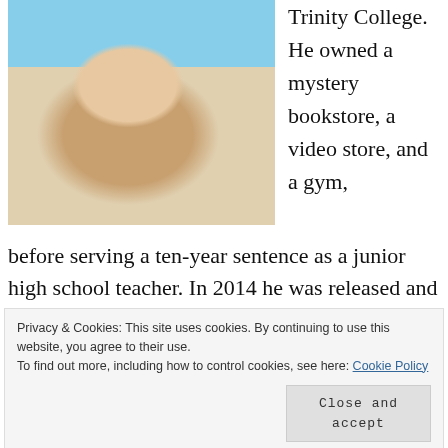[Figure (photo): Photo of a man in a floral shirt, seated outdoors, with water/beach visible in the background]
Trinity College. He owned a mystery bookstore, a video store, and a gym, before serving a ten-year sentence as a junior high school teacher. In 2014 he was released and began writing. And that's what he does. He writes histories and mysteries.
Privacy & Cookies: This site uses cookies. By continuing to use this website, you agree to their use.
To find out more, including how to control cookies, see here: Cookie Policy
Close and accept
Collins grew into manhood during the Civil War. Tom